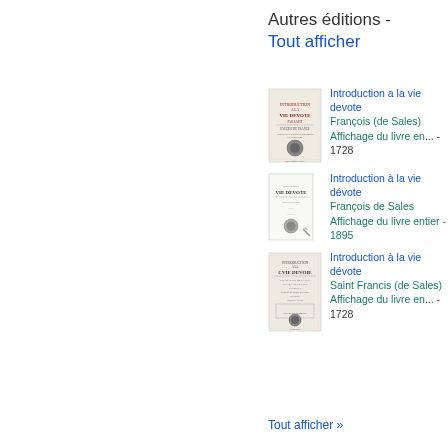Autres éditions - Tout afficher
Introduction a la vie devote
François (de Sales)
Affichage du livre en... - 1728
Introduction à la vie dévote
François de Sales
Affichage du livre entier - 1895
Introduction à la vie dévote
Saint Francis (de Sales)
Affichage du livre en... - 1728
Tout afficher »